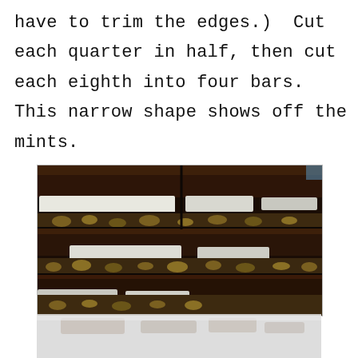have to trim the edges.)  Cut each quarter in half, then cut each eighth into four bars.  This narrow shape shows off the mints.
[Figure (photo): A stack of chocolate brownie bars with visible marshmallow and walnut pieces, layered on top of each other. The bars show distinct layers of dark chocolate brownie, white marshmallow, and green walnut filling. Below the stack is a reflection on a shiny surface.]